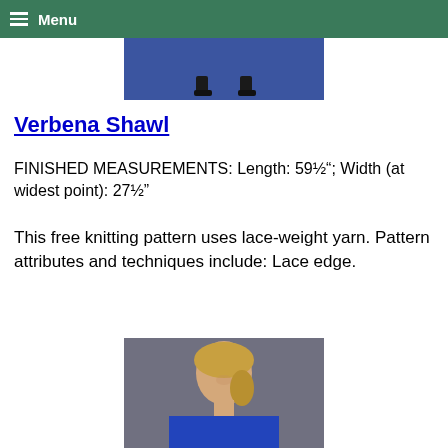Menu
[Figure (photo): Photo showing feet/shoes on a blue background, cropped at top]
Verbena Shawl
FINISHED MEASUREMENTS: Length: 59½"; Width (at widest point): 27½"
This free knitting pattern uses lace-weight yarn. Pattern attributes and techniques include: Lace edge.
[Figure (photo): Photo of a blonde woman smiling, wearing a blue lace shawl, shown from shoulders up]